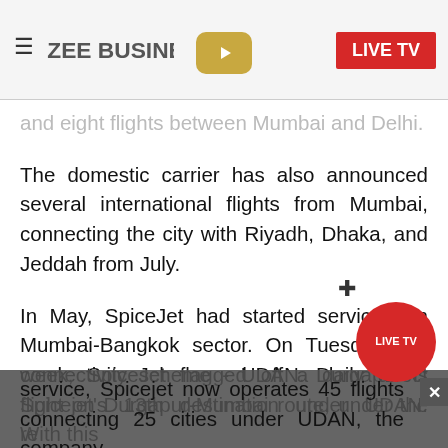ZEE BUSINESS | LIVE TV
and eight flights between Mumbai and Delhi.
The domestic carrier has also announced several international flights from Mumbai, connecting the city with Riyadh, Dhaka, and Jeddah from July.
In May, SpiceJet had started services on Mumbai-Bangkok sector. On Tuesday this week, SpiceJet flagged off a daily direct flight on Durgapur-Mumbai route, under the regional connectivity scheme - UDAN. Durgapur is Spicejet's 13th destination under UDAN. With this service, Spicejet now operates 45 flights connecting 25 cities under UDAN, the company